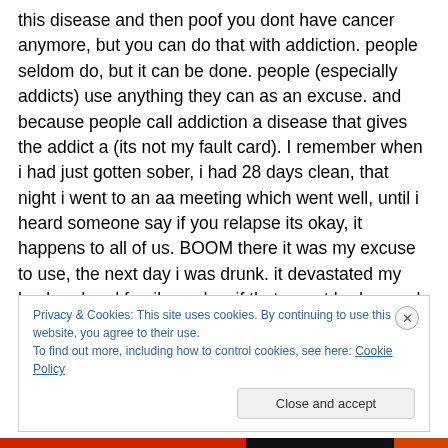this disease and then poof you dont have cancer anymore, but you can do that with addiction. people seldom do, but it can be done. people (especially addicts) use anything they can as an excuse. and because people call addiction a disease that gives the addict a (its not my fault card). I remember when i had just gotten sober, i had 28 days clean, that night i went to an aa meeting which went well, until i heard someone say if you relapse its okay, it happens to all of us. BOOM there it was my excuse to use, the next day i was drunk. it devastated my husband and family, and as if that wasnt bad enough i did this 3
Privacy & Cookies: This site uses cookies. By continuing to use this website, you agree to their use.
To find out more, including how to control cookies, see here: Cookie Policy
Close and accept